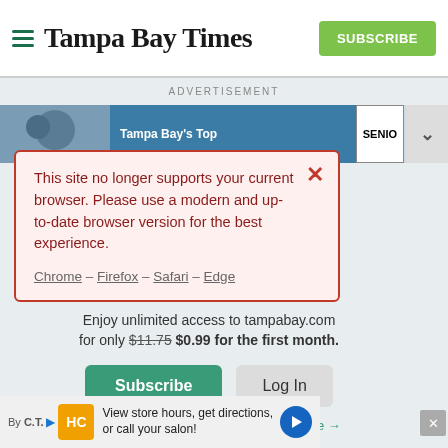Tampa Bay Times
ADVERTISEMENT
[Figure (screenshot): Tampa Bay Times advertisement banner showing Tampa Bay's Top and SENIO text with a cyclist image]
This site no longer supports your current browser. Please use a modern and up-to-date browser version for the best experience.
Chrome – Firefox – Safari – Edge
Enjoy unlimited access to tampabay.com for only $11.75 $0.99 for the first month.
Subscribe   Log In
Interested in print delivery? Subscribe here →
[Figure (screenshot): Bottom advertisement bar: HC logo, View store hours, get directions, or call your salon!]